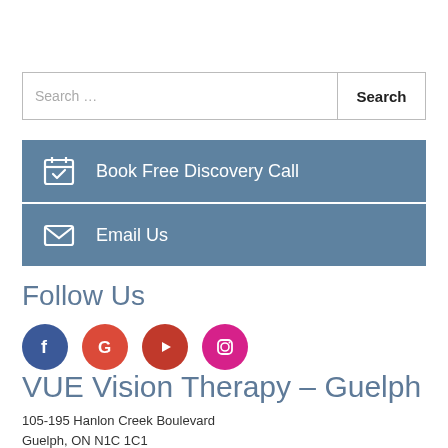Search …
Book Free Discovery Call
Email Us
Follow Us
[Figure (other): Social media icons: Facebook, Google, YouTube, Instagram]
VUE Vision Therapy – Guelph
105-195 Hanlon Creek Boulevard
Guelph, ON N1C 1C1
Phone: